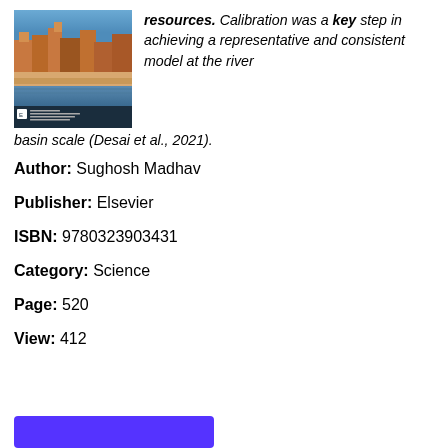[Figure (photo): Book cover showing a river scene with colorful buildings along the ghats, with editor names and Elsevier logo at the bottom]
resources. Calibration was a key step in achieving a representative and consistent model at the river basin scale (Desai et al., 2021).
Author: Sughosh Madhav
Publisher: Elsevier
ISBN: 9780323903431
Category: Science
Page: 520
View: 412